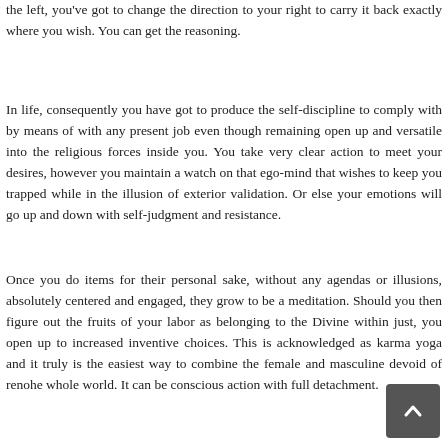the left, you've got to change the direction to your right to carry it back exactly where you wish. You can get the reasoning.
In life, consequently you have got to produce the self-discipline to comply with by means of with any present job even though remaining open up and versatile into the religious forces inside you. You take very clear action to meet your desires, however you maintain a watch on that ego-mind that wishes to keep you trapped while in the illusion of exterior validation. Or else your emotions will go up and down with self-judgment and resistance.
Once you do items for their personal sake, without any agendas or illusions, absolutely centered and engaged, they grow to be a meditation. Should you then figure out the fruits of your labor as belonging to the Divine within just, you open up to increased inventive choices. This is acknowledged as karma yoga and it truly is the easiest way to combine the female and masculine devoid of renouncing the whole world. It can be conscious action with full detachment.